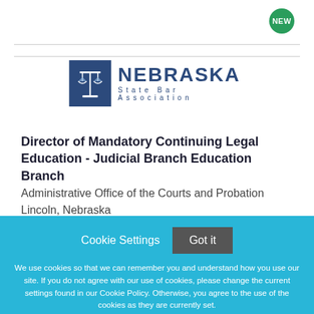[Figure (logo): Nebraska State Bar Association logo with scale of justice icon and text]
Director of Mandatory Continuing Legal Education - Judicial Branch Education Branch
Administrative Office of the Courts and Probation
Lincoln, Nebraska
Cookie Settings  Got it
We use cookies so that we can remember you and understand how you use our site. If you do not agree with our use of cookies, please change the current settings found in our Cookie Policy. Otherwise, you agree to the use of the cookies as they are currently set.